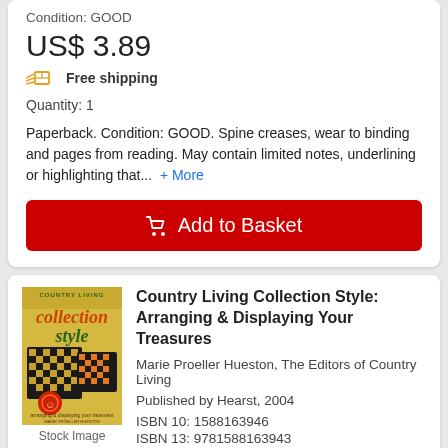Condition: GOOD
US$ 3.89
Free shipping
Quantity: 1
Paperback. Condition: GOOD. Spine creases, wear to binding and pages from reading. May contain limited notes, underlining or highlighting that... + More
Add to Basket
Country Living Collection Style: Arranging & Displaying Your Treasures
Marie Proeller Hueston, The Editors of Country Living
Published by Hearst, 2004
ISBN 10: 1588163946
ISBN 13: 9781588163943
Seller: Discover Books Toledo, OH, U.S.A.
[Figure (photo): Book cover of Country Living Collection Style showing checkerboard pattern boards and text]
Stock Image